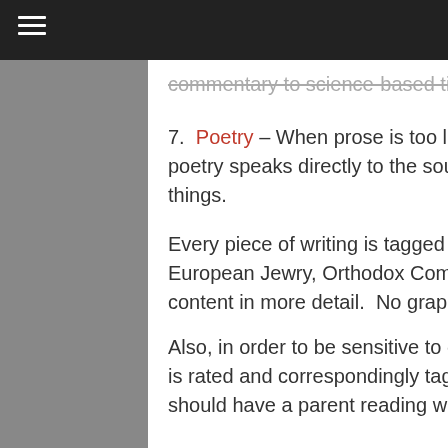commentary to science-based tips for anal sex.
7.  Poetry – When prose is too limiting to invoke an appropriate mood, poetry speaks directly to the soul. Read these poems to make you feel new things.
Every piece of writing is tagged (e.g. Hebrew School, Summer Camp, European Jewry, Orthodox Community, etc.) to describe the writing's content in more detail.  No graphic pictures are used.
Also, in order to be sensitive to our diverse audience, each piece of writing is rated and correspondingly tagged for your reading convenience. Minors should have a parent reading with them and stick to the PG material if